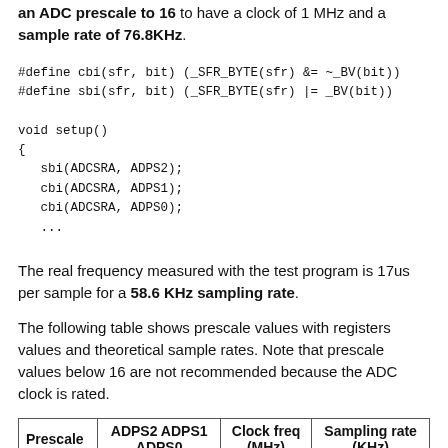an ADC prescale to 16 to have a clock of 1 MHz and a sample rate of 76.8KHz.
The real frequency measured with the test program is 17us per sample for a 58.6 KHz sampling rate.
The following table shows prescale values with registers values and theoretical sample rates. Note that prescale values below 16 are not recommended because the ADC clock is rated.
| Prescale | ADPS2 ADPS1 ADPS0 | Clock freq (MHz) | Sampling rate (KHz) |
| --- | --- | --- | --- |